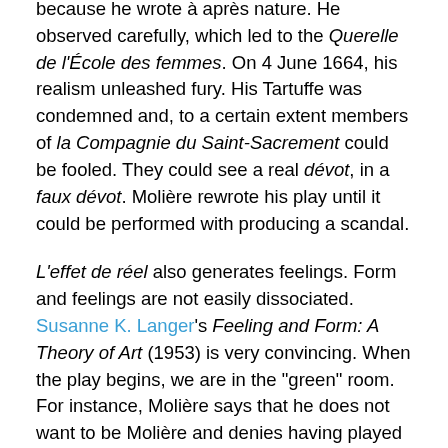because he wrote a après nature. He observed carefully, which led to the Querelle de l'École des femmes. On 4 June 1664, his realism unleashed fury. His Tartuffe was condemned and, to a certain extent members of la Compagnie du Saint-Sacrement could be fooled. They could see a real dévot, in a faux dévot. Molière rewrote his play until it could be performed with producing a scandal.
L'effet de réel also generates feelings. Form and feelings are not easily dissociated. Susanne K. Langer's Feeling and Form: A Theory of Art (1953) is very convincing. When the play begins, we are in the "green" room. For instance, Molière says that he does not want to be Molière and denies having played the marquis ridicule in La Critique de l'École des femmes, but a little further down the page, he admits having played the marquis ridicule. However, La Grange wants to bet, cent (a hundred) pistoles that